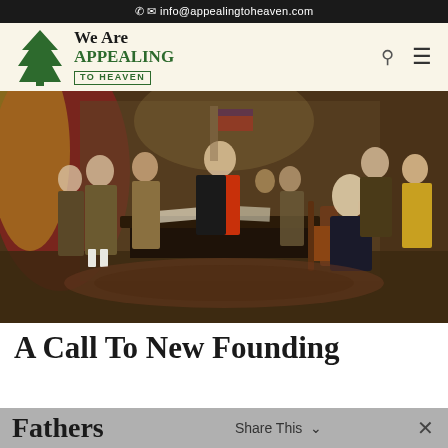📞  ✉ info@appealingtoheaven.com
[Figure (logo): We Are Appealing To Heaven logo with pine tree icon]
[Figure (photo): Historical painting of the Founding Fathers presenting the Declaration of Independence]
A Call To New Founding Fathers
Share This ∨  ✕